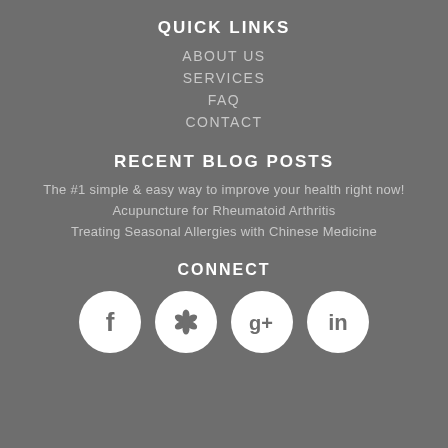QUICK LINKS
ABOUT US
SERVICES
FAQ
CONTACT
RECENT BLOG POSTS
The #1 simple & easy way to improve your health right now!
Acupuncture for Rheumatoid Arthritis
Treating Seasonal Allergies with Chinese Medicine
CONNECT
[Figure (infographic): Social media icons: Facebook, Yelp, Google+, LinkedIn — white circular icons on gray background]